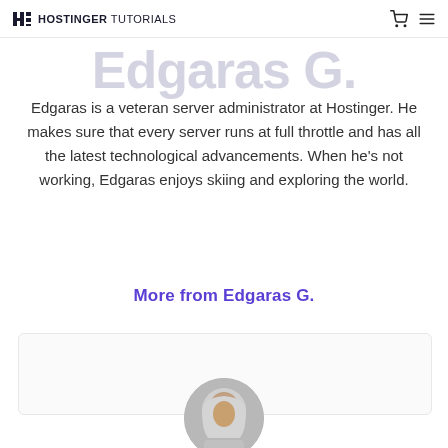HOSTINGER TUTORIALS
Edgaras G.
Edgaras is a veteran server administrator at Hostinger. He makes sure that every server runs at full throttle and has all the latest technological advancements. When he's not working, Edgaras enjoys skiing and exploring the world.
More from Edgaras G.
[Figure (photo): Circular avatar photo of a person wearing a hijab, partially visible at bottom of page]